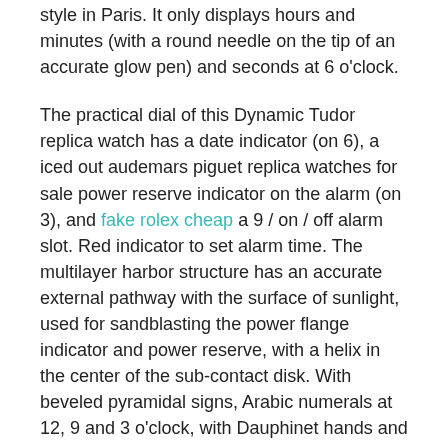style in Paris. It only displays hours and minutes (with a round needle on the tip of an accurate glow pen) and seconds at 6 o'clock.
The practical dial of this Dynamic Tudor replica watch has a date indicator (on 6), a iced out audemars piguet replica watches for sale power reserve indicator on the alarm (on 3), and fake rolex cheap a 9 / on / off alarm slot. Red indicator to set alarm time. The multilayer harbor structure has an accurate external pathway with the surface of sunlight, used for sandblasting the power flange indicator and power reserve, with a helix in the center of the sub-contact disk. With beveled pyramidal signs, Arabic numerals at 12, 9 and 3 o'clock, with Dauphinet hands and gentle phosphorous entries give the watch a more sophisticated look.
Replica Rolex 116519
The last text content continues on next page.